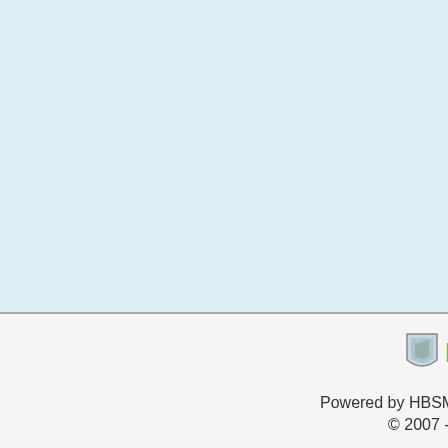medieval mills (NHER 15235, 15927... Rectory (NHER 40110) is an 18th ce... 7791) is an early 19th century house... World War Two. Two iron working sit... village still has a blacksmith's shop (...
Sarah Spooner (NLA), November 20...
Further Reading
Brown, P. (ed.), 1984. Domesday Bo...
Mills, A.D., 1998. Dictionary of Englis...
Rye, J., 1991. A Popular Guide to No...
[Figure (logo): Norfolk County Council logo with shield icon, green Norfolk text and grey County Council text]
Powered by HBSMR-web and the HBSMR G... © 2007 - 2022 Norfo...